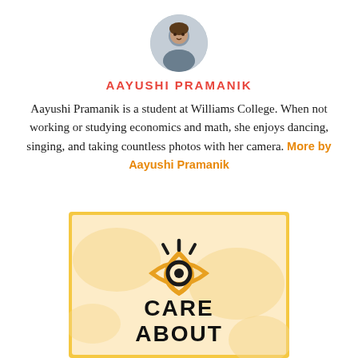[Figure (photo): Circular profile photo of Aayushi Pramanik]
AAYUSHI PRAMANIK
Aayushi Pramanik is a student at Williams College. When not working or studying economics and math, she enjoys dancing, singing, and taking countless photos with her camera. More by Aayushi Pramanik
[Figure (logo): Care About logo — orange eye icon with text CARE ABOUT beneath it, on a light orange patterned background with orange border]